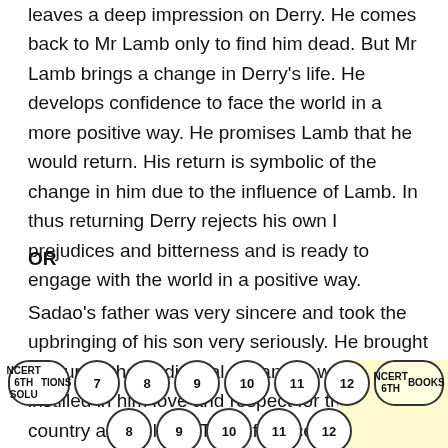leaves a deep impression on Derry. He comes back to Mr Lamb only to find him dead. But Mr Lamb brings a change in Derry's life. He develops confidence to face the world in a more positive way. He promises Lamb that he would return. His return is symbolic of the change in him due to the influence of Lamb. In thus returning Derry rejects his own I prejudices and bitterness and is ready to engage with the world in a positive way.
OR
Sadao's father was very sincere and took the upbringing of his son very seriously. He brought him up in the traditional Japanese way and instilled in him love and respect for their country and culture. The influence of his
NCERT 6TH SOLUTIONS | 7 | 8 | 9 | 10 | 11 | 12 | NCERT 6TH BOOKS | 7 | 8 | 9 | 10 | 11 | 12